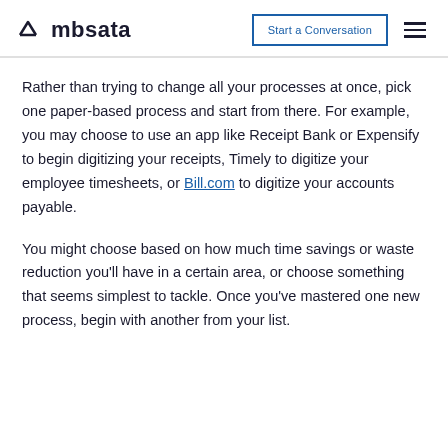mbsata | Start a Conversation
Rather than trying to change all your processes at once, pick one paper-based process and start from there. For example, you may choose to use an app like Receipt Bank or Expensify to begin digitizing your receipts, Timely to digitize your employee timesheets, or Bill.com to digitize your accounts payable.
You might choose based on how much time savings or waste reduction you'll have in a certain area, or choose something that seems simplest to tackle. Once you've mastered one new process, begin with another from your list.